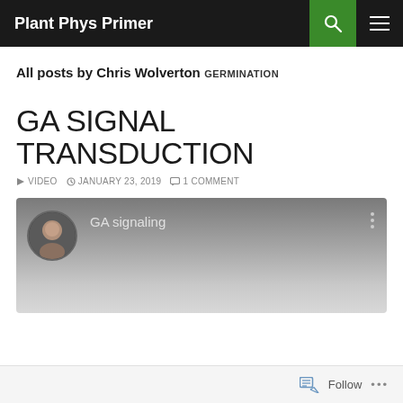Plant Phys Primer
All posts by Chris Wolverton
GERMINATION
GA SIGNAL TRANSDUCTION
▶ VIDEO  ⏰ JANUARY 23, 2019  💬 1 COMMENT
[Figure (screenshot): YouTube video thumbnail showing a man's avatar photo and the title 'GA signaling' with a three-dot menu icon on the right, on a gray gradient background.]
Follow  •••